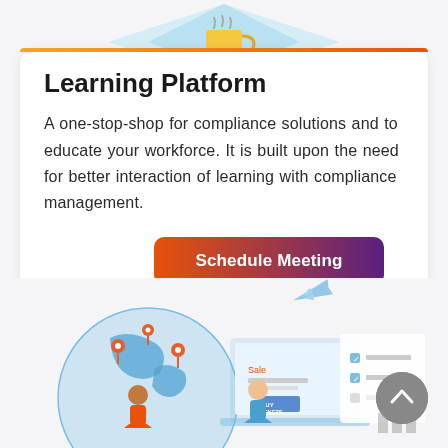[Figure (illustration): Isometric illustration of a coffee cup on a light blue geometric shape at the top of the page]
Learning Platform
A one-stop-shop for compliance solutions and to educate your workforce. It is built upon the need for better interaction of learning with compliance management.
[Figure (illustration): Button labeled 'Schedule Meeting' with orange-to-purple gradient background]
[Figure (illustration): Illustration showing a globe with map pins, an airplane, people at a laptop, and a checklist document at the bottom of the page]
[Figure (illustration): Gray circular scroll-to-top button with an upward chevron arrow in the bottom-right corner]